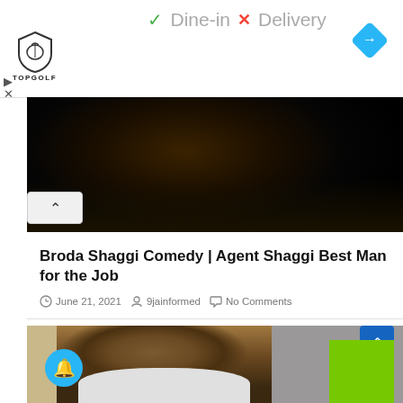[Figure (screenshot): Ad banner: green checkmark Dine-in, red X Delivery text; Topgolf shield logo on left; blue diamond navigation icon on right]
[Figure (photo): Dark outdoor scene showing a figure in black clothing against a dark background]
Broda Shaggi Comedy | Agent Shaggi Best Man for the Job
June 21, 2021   9jainformed   No Comments
[Figure (photo): Close-up of a bald Black man in a white shirt; blue scroll-up button and green advertisement box overlay in bottom right; blue notification bell button in bottom left]